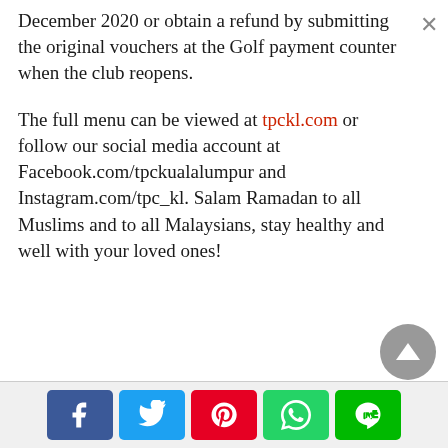December 2020 or obtain a refund by submitting the original vouchers at the Golf payment counter when the club reopens.

The full menu can be viewed at tpckl.com or follow our social media account at Facebook.com/tpckualalumpur and Instagram.com/tpc_kl. Salam Ramadan to all Muslims and to all Malaysians, stay healthy and well with your loved ones!
[Figure (infographic): Social media share buttons: Facebook, Twitter, Pinterest, WhatsApp, LINE]